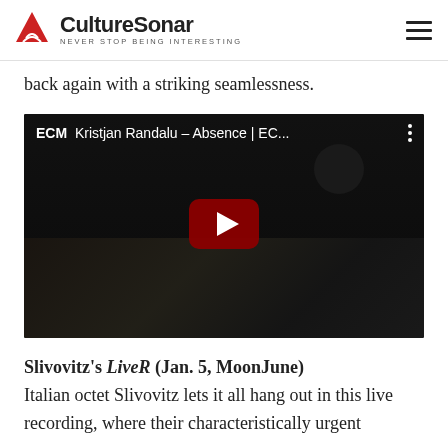CultureSonar — NEVER STOP BEING INTERESTING
back again with a striking seamlessness.
[Figure (screenshot): YouTube video embed showing ECM Kristjan Randalu – Absence | EC... with a play button and piano hands visible in the background]
Slivovitz's LiveR (Jan. 5, MoonJune) Italian octet Slivovitz lets it all hang out in this live recording, where their characteristically urgent